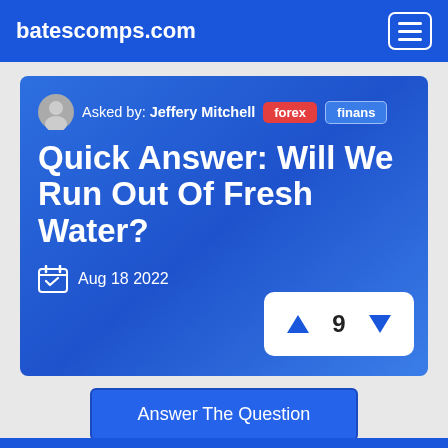batescomps.com
Asked by: Jeffery Mitchell  forex  finans
Quick Answer: Will We Run Out Of Fresh Water?
Aug 18 2022
9
Answer The Question